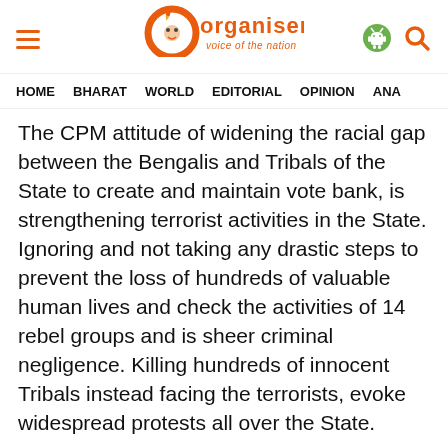Organiser — voice of the nation
HOME  BHARAT  WORLD  EDITORIAL  OPINION  ANA
The CPM attitude of widening the racial gap between the Bengalis and Tribals of the State to create and maintain vote bank, is strengthening terrorist activities in the State. Ignoring and not taking any drastic steps to prevent the loss of hundreds of valuable human lives and check the activities of 14 rebel groups and is sheer criminal negligence. Killing hundreds of innocent Tribals instead facing the terrorists, evoke widespread protests all over the State.
It is compulsory that all the beneficiaries of all the development and other government project should be CPM members. The State government is viewing